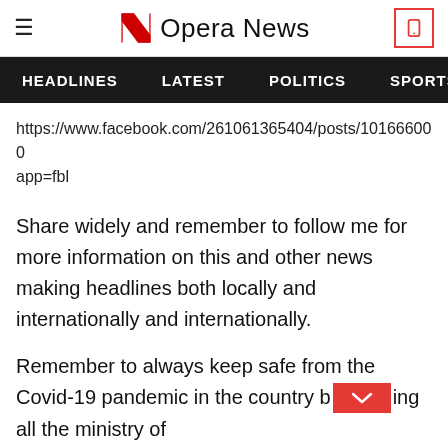Opera News — HEADLINES | LATEST | POLITICS | SPORTS
https://www.facebook.com/261061365404/posts/101666000 app=fbl
Share widely and remember to follow me for more information on this and other news making headlines both locally and internationally and internationally.
Remember to always keep safe from the Covid-19 pandemic in the country b[button]ing all the ministry of